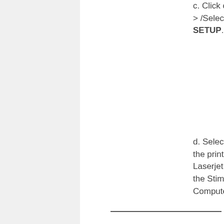c. Click on FILE then --> /Select PRINT SETUP.
d. Select "COLOR" as the printer (the HP Laserjet Printer near the Stimulus Computer).